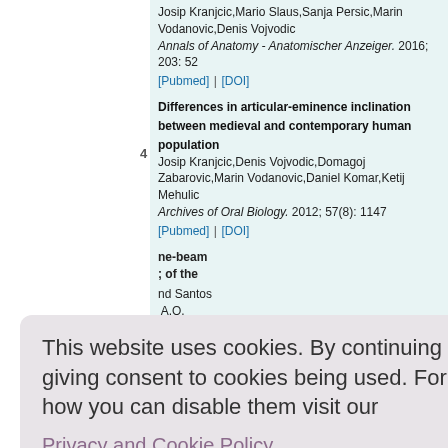Josip Kranjcic,Mario Slaus,Sanja Persic,Marin Vodanovic,Denis Vojvodic
Annals of Anatomy - Anatomischer Anzeiger. 2016; 203: 52
[Pubmed] | [DOI]
Differences in articular-eminence inclination between medieval and contemporary human population
Josip Kranjcic,Denis Vojvodic,Domagoj Zabarovic,Marin Vodanovic,Daniel Komar,Ketij Mehulic
Archives of Oral Biology. 2012; 57(8): 1147
[Pubmed] | [DOI]
This website uses cookies. By continuing to use this website you are giving consent to cookies being used. For information on cookies and how you can disable them visit our
Privacy and Cookie Policy.
AGREE & PROCEED
ne-beam
of the
nd Santos
A.O.
ences. 20
ge and
en la
con edac
y estado dental]